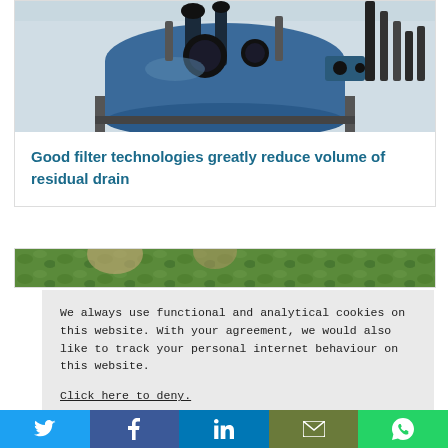[Figure (photo): Industrial blue filtration/pump equipment in a facility with pipes and machinery]
Good filter technologies greatly reduce volume of residual drain
[Figure (photo): Person partially visible with green foliage background]
We always use functional and analytical cookies on this website. With your agreement, we would also like to track your personal internet behaviour on this website.
Click here to deny.
I consent
Social share bar: Twitter, Facebook, LinkedIn, Email, WhatsApp